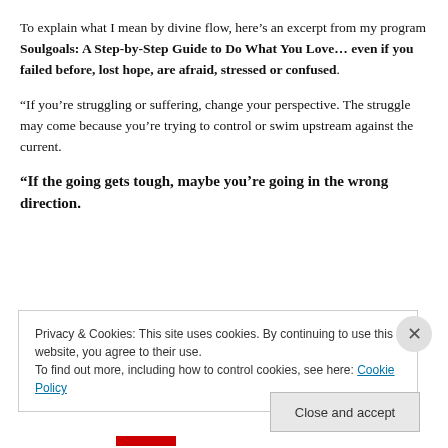To explain what I mean by divine flow, here's an excerpt from my program Soulgoals: A Step-by-Step Guide to Do What You Love… even if you failed before, lost hope, are afraid, stressed or confused.
“If you’re struggling or suffering, change your perspective. The struggle may come because you’re trying to control or swim upstream against the current.
“If the going gets tough, maybe you’re going in the wrong direction.
Privacy & Cookies: This site uses cookies. By continuing to use this website, you agree to their use.
To find out more, including how to control cookies, see here: Cookie Policy
Close and accept